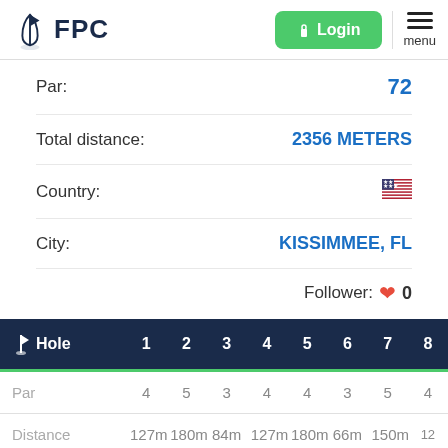FPC — Login / menu
Par: 72
Total distance: 2356 METERS
Country: (US flag)
City: KISSIMMEE, FL
Follower: 0
| Hole | 1 | 2 | 3 | 4 | 5 | 6 | 7 | 8 |
| --- | --- | --- | --- | --- | --- | --- | --- | --- |
| Par | 4 | 5 | 3 | 4 | 4 | 3 | 5 | 4 |
| Distance | 127m | 180m | 84m | 127m | 180m | 66m | 150m | 12 |
| Strokeindex | 0 | 0 | 0 | 0 | 0 | 0 | 0 | 0 |